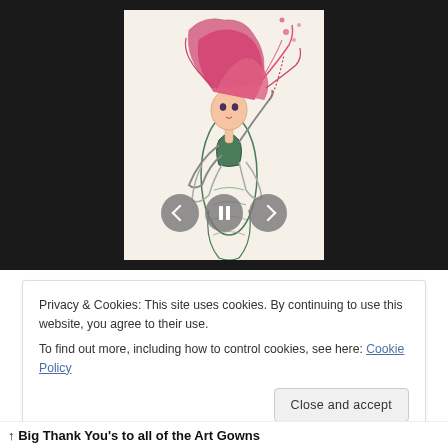[Figure (illustration): A slideshow/video player with a dark background showing a sketch illustration of a mermaid-like figure with flowing red/pink hair, wearing a green outfit, against a light background. Navigation controls (back arrow, pause, forward arrow) are overlaid at the bottom of the image.]
Privacy & Cookies: This site uses cookies. By continuing to use this website, you agree to their use.
To find out more, including how to control cookies, see here: Cookie Policy
Close and accept
↑ Big Thank You's to all of the Art Gowns